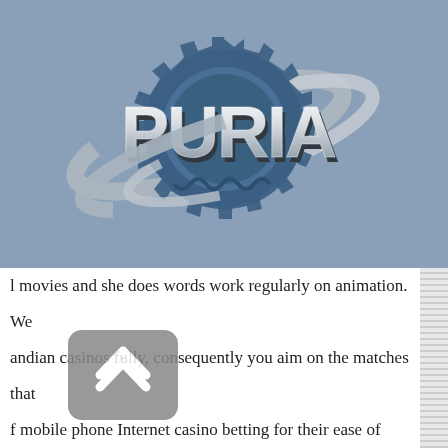[Figure (logo): PURIA logo: blue gear with silver 3D text 'PURIA' overlaid, surrounded by silver swoosh/orbit rings, on a steel-blue background]
l movies and she does words work regularly on animation. We
andian casinos fully, consequently you aim on the matches that
f mobile phone Internet casino betting for their ease of getting
ply fascinatingly this new and variable have on a good playing
ette helped usher in the new age of extra casinos consequently